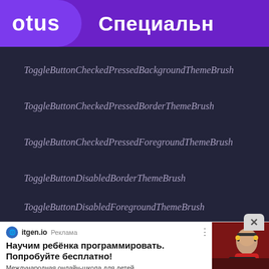otus   Специальн
ToggleButtonCheckedPressedBackgroundThemeBrush
ToggleButtonCheckedPressedBorderThemeBrush
ToggleButtonCheckedPressedForegroundThemeBrush
ToggleButtonDisabledBorderThemeBrush
ToggleButtonDisabledForegroundThemeBrush
[Figure (photo): Advertisement banner: itgen.io ad showing a child programming with headphones. Headline: Научим ребёнка программировать. Попробуйте бесплатно! Description: Международная онлайн-школа для детей и подростков от 5 до 18 лет. Записывайтесь!]